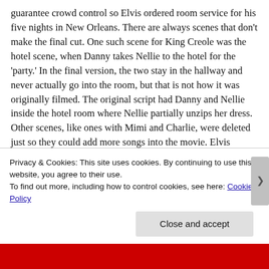guarantee crowd control so Elvis ordered room service for his five nights in New Orleans. There are always scenes that don't make the final cut. One such scene for King Creole was the hotel scene, when Danny takes Nellie to the hotel for the 'party.' In the final version, the two stay in the hallway and never actually go into the room, but that is not how it was originally filmed. The original script had Danny and Nellie inside the hotel room where Nellie partially unzips her dress. Other scenes, like ones with Mimi and Charlie, were deleted just so they could add more songs into the movie. Elvis almost fell off the bar while filming "Trouble." During the fight scene with Danny and the gang, Elvis really did
Privacy & Cookies: This site uses cookies. By continuing to use this website, you agree to their use.
To find out more, including how to control cookies, see here: Cookie Policy